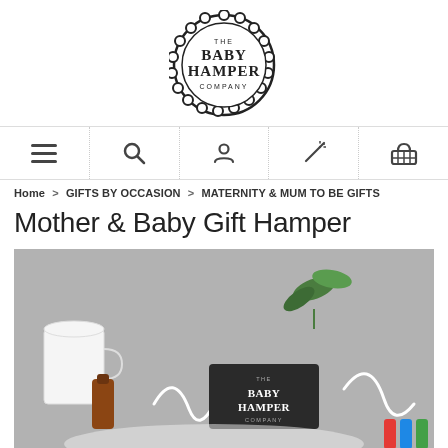[Figure (logo): The Baby Hamper Company logo — circular badge with scalloped border, text reading THE BABY HAMPER COMPANY in the center]
[Figure (infographic): Navigation bar with 5 icons: hamburger menu, search magnifying glass, user profile, magic wand/wishlist, shopping basket]
Home > GIFTS BY OCCASION > MATERNITY & MUM TO BE GIFTS
Mother & Baby Gift Hamper
[Figure (photo): Flat lay product photo on grey background showing baby hamper items including a white mug, a dark card with The Baby Hamper Company logo, green leaves, white ribbon curls, and colourful items]